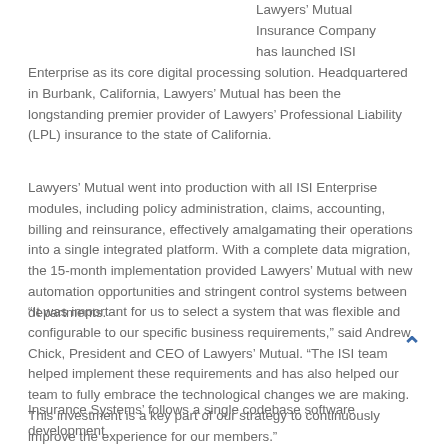Lawyers' Mutual Insurance Company has launched ISI Enterprise as its core digital processing solution. Headquartered in Burbank, California, Lawyers' Mutual has been the longstanding premier provider of Lawyers' Professional Liability (LPL) insurance to the state of California.
Lawyers' Mutual went into production with all ISI Enterprise modules, including policy administration, claims, accounting, billing and reinsurance, effectively amalgamating their operations into a single integrated platform. With a complete data migration, the 15-month implementation provided Lawyers' Mutual with new automation opportunities and stringent control systems between departments.
“It was important for us to select a system that was flexible and configurable to our specific business requirements,” said Andrew Chick, President and CEO of Lawyers’ Mutual. “The ISI team helped implement these requirements and has also helped our team to fully embrace the technological changes we are making. This investment is a key part of our strategy to continuously improve the experience for our members.”
Insurance Systems’ follows a single codebase software development model which ensures that all customers of Insurance Systems, Inc. benefit from the same system.